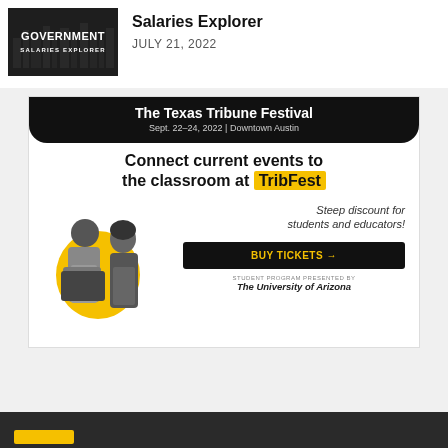[Figure (screenshot): Government Salaries Explorer tool thumbnail with dark background and white text]
Salaries Explorer
JULY 21, 2022
[Figure (infographic): The Texas Tribune Festival advertisement. Sept. 22-24, 2022 | Downtown Austin. Connect current events to the classroom at TribFest. Steep discount for students and educators! BUY TICKETS arrow. Student Program Presented by The University of Arizona.]